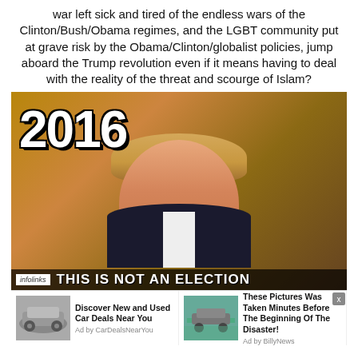war left sick and tired of the endless wars of the Clinton/Bush/Obama regimes, and the LGBT community put at grave risk by the Obama/Clinton/globalist policies, jump aboard the Trump revolution even if it means having to deal with the reality of the threat and scourge of Islam?
[Figure (photo): A meme image showing a man in a suit with the year '2016' in large bold white text at the top left, and the text 'THIS IS NOT AN ELECTION' at the bottom. An infolinks badge is visible in the lower left corner.]
[Figure (infographic): Advertisement bar with two ads: (1) 'Discover New and Used Car Deals Near You' by CarDealsNearYou with a car image, and (2) 'These Pictures Was Taken Minutes Before The Beginning Of The Disaster!' by BillyNews with a truck/flood image. A close button (x) appears in the upper right.]